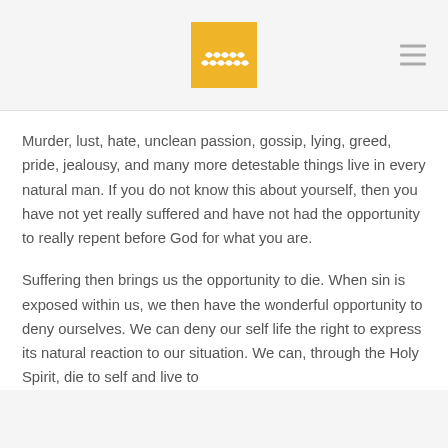[Figure (logo): Golden/yellow square logo with white wheat/leaf icon]
Murder, lust, hate, unclean passion, gossip, lying, greed, pride, jealousy, and many more detestable things live in every natural man. If you do not know this about yourself, then you have not yet really suffered and have not had the opportunity to really repent before God for what you are.
Suffering then brings us the opportunity to die. When sin is exposed within us, we then have the wonderful opportunity to deny ourselves. We can deny our self life the right to express its natural reaction to our situation. We can, through the Holy Spirit, die to self and live to